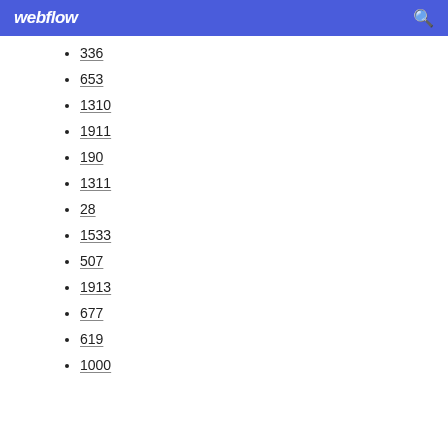webflow
336
653
1310
1911
190
1311
28
1533
507
1913
677
619
1000